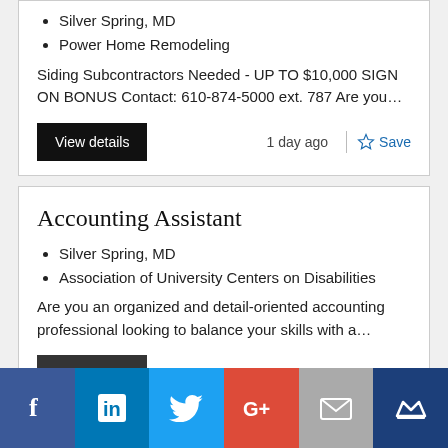Silver Spring, MD
Power Home Remodeling
Siding Subcontractors Needed - UP TO $10,000 SIGN ON BONUS Contact: 610-874-5000 ext. 787 Are you…
Accounting Assistant
Silver Spring, MD
Association of University Centers on Disabilities
Are you an organized and detail-oriented accounting professional looking to balance your skills with a…
[Figure (infographic): Social sharing bar with icons for Facebook, LinkedIn, Twitter, Google+, Email, and a crown/Mightybell icon]